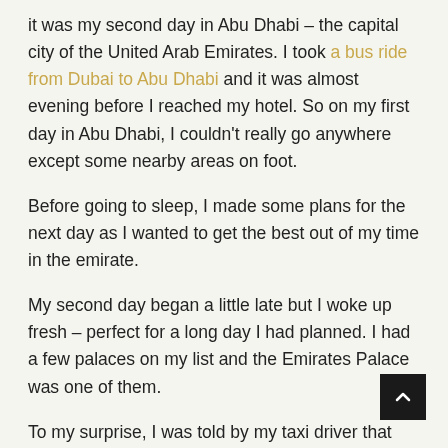it was my second day in Abu Dhabi – the capital city of the United Arab Emirates. I took a bus ride from Dubai to Abu Dhabi and it was almost evening before I reached my hotel. So on my first day in Abu Dhabi, I couldn't really go anywhere except some nearby areas on foot.
Before going to sleep, I made some plans for the next day as I wanted to get the best out of my time in the emirate.
My second day began a little late but I woke up fresh – perfect for a long day I had planned. I had a few palaces on my list and the Emirates Palace was one of them.
To my surprise, I was told by my taxi driver that most palaces in Abu Dhabi didn't allow entry to visitors. He suggested that we pass by some palaces and he would tell me about them on our way to the Emirates Palace. I agreed and he shared his knowledge about the city and its history with me.
After an informative taxi ride for about half an hour, I finally